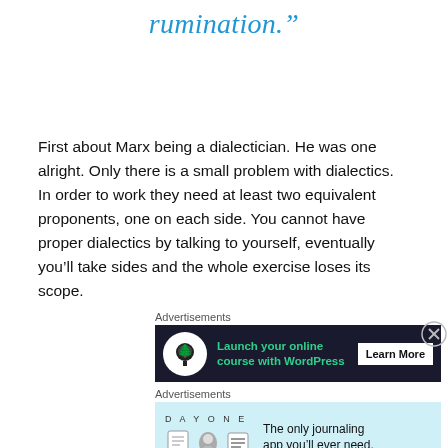rumination.”
First about Marx being a dialectician. He was one alright. Only there is a small problem with dialectics. In order to work they need at least two equivalent proponents, one on each side. You cannot have proper dialectics by talking to yourself, eventually you’ll take sides and the whole exercise loses its scope.
Advertisements
[Figure (screenshot): Advertisement banner: dark background with tree icon, green text 'Launch your online course with WordPress', and a 'Learn More' button]
Advertisements
[Figure (screenshot): Advertisement banner: light blue background, DayOne app branding with icons, text 'The only journaling app you’ll ever need.']